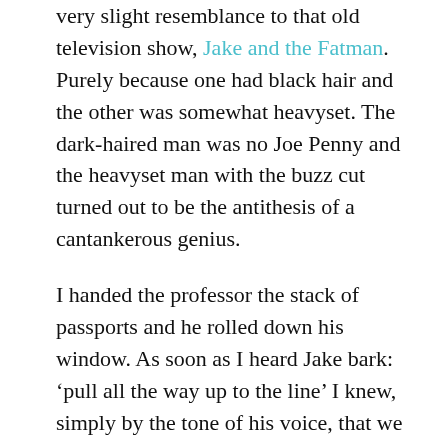very slight resemblance to that old television show, Jake and the Fatman. Purely because one had black hair and the other was somewhat heavyset. The dark-haired man was no Joe Penny and the heavyset man with the buzz cut turned out to be the antithesis of a cantankerous genius.
I handed the professor the stack of passports and he rolled down his window. As soon as I heard Jake bark: ‘pull all the way up to the line’ I knew, simply by the tone of his voice, that we were not going to breeze into America after all.
There are law enforcement agents who are professionals, who do their job and speak with even, bordering on pleasant voices. And there are law enforcement agents who have lower than average IQs, who thrive on abusing their position of power, and often end up in youtube clips and newspaper headlines.